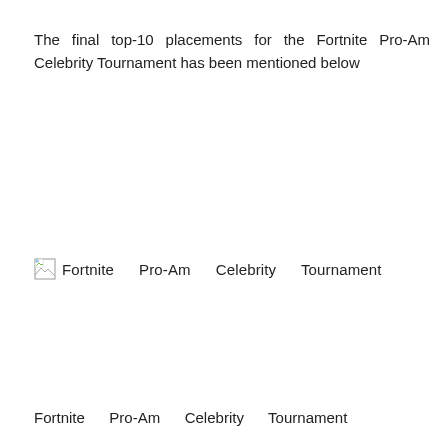The final top-10 placements for the Fortnite Pro-Am Celebrity Tournament has been mentioned below
[Figure (other): Broken image placeholder with alt text: Fortnite Pro-Am Celebrity Tournament]
Fortnite Pro-Am Celebrity Tournament